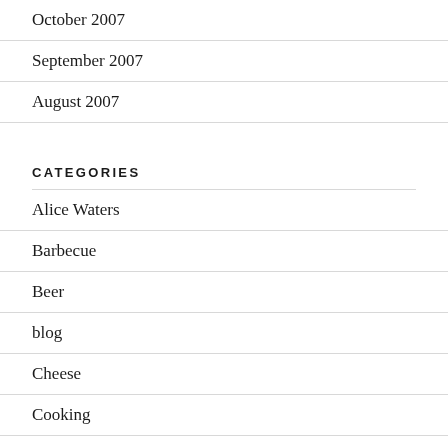October 2007
September 2007
August 2007
CATEGORIES
Alice Waters
Barbecue
Beer
blog
Cheese
Cooking